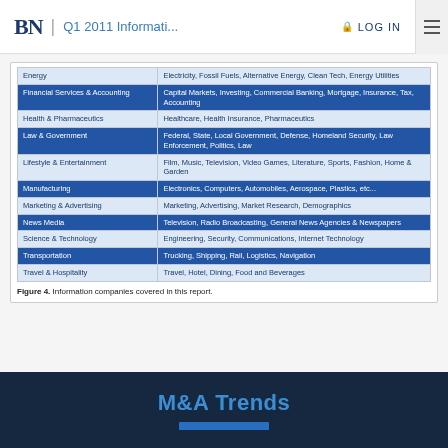BN | Q1 2011 Informati... LOG IN
| Category | Subcategories |
| --- | --- |
| Energy | Electricity, Fossil Fuels, Alternative Energy, Clean Tech, Energy Utilities |
| Financial Services & Accounting | Capital Markets, Investing, Commercial Banking, Mortgage, Insurance, Tax, Accounting |
| Health & Pharmaceutics | Healthcare, Health Insurance, Pharmaceutics |
| Law & Government | Federal, State, Local Government, Defense, Homeland Security, Law Enforcement, Politics, Law |
| Lifestyle & Entertainment | Film, Music, Television, Video Games, Literature, Sports, Fashion, Home & Garden |
| Manufacturing | Electronics, Computers, Automobiles, Aerospace, Plastics, etc... |
| Marketing & Advertising | Marketing, Advertising, Market Research, Demographics |
| News Media | Television, Radio Broadcasting, General News Agencies & Newspapers |
| Science & Technology | Engineering, Security, Communications, Internet Technology |
| Transportation | Trucking, Shipping, Rail, Logistics, Navigation |
| Travel & Hospitality | Travel, Hotel, Dining, Food and Beverages |
Figure 4.  Information companies covered in this report.
M&A Trends